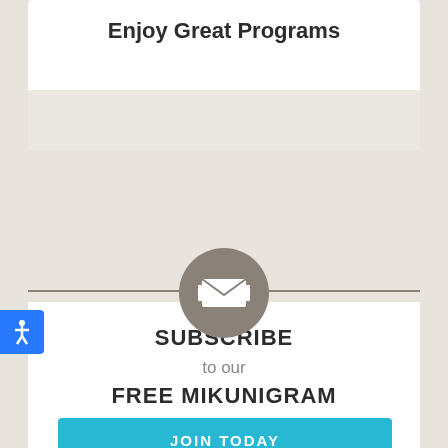Enjoy Great Programs
[Figure (illustration): Gray circular icon with a white envelope/mail symbol in the center, centered on a horizontal divider line separating the beige top area from the white bottom panel]
SUBSCRIBE
to our
FREE MIKUNIGRAM
JOIN TODAY